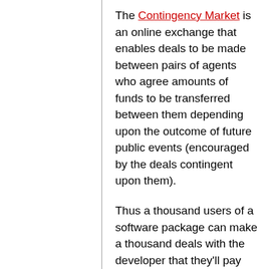The Contingency Market is an online exchange that enables deals to be made between pairs of agents who agree amounts of funds to be transferred between them depending upon the outcome of future public events (encouraged by the deals contingent upon them).
Thus a thousand users of a software package can make a thousand deals with the developer that they'll pay them a dollar in the event a particular feature is implemented and published.
The Contingency Market is thus far more appropriate for the sale of digital work than conventional